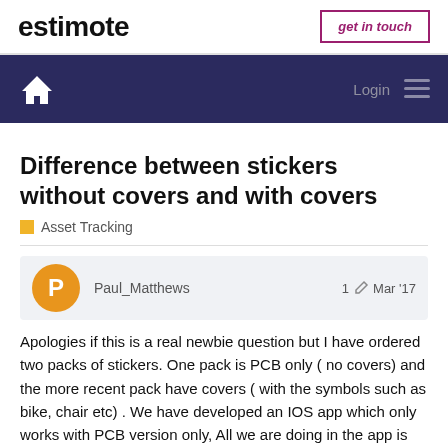estimote | get in touch
[Figure (screenshot): Navy navigation bar with white home icon on the left and Login/menu icons on the right]
Difference between stickers without covers and with covers
Asset Tracking
Paul_Matthews   1  Mar '17
Apologies if this is a real newbie question but I have ordered two packs of stickers. One pack is PCB only ( no covers) and the more recent pack have covers ( with the symbols such as bike, chair etc) . We have developed an IOS app which only works with PCB version only, All we are doing in the app is detecting and recording movement with zero stats for the covered versions.